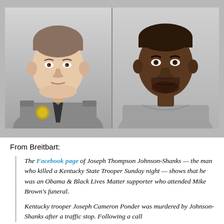[Figure (photo): Two side-by-side photos: left shows a white male in a grey police uniform with badge (Kentucky State Trooper), right shows a Black male in a grey t-shirt (mugshot style background)]
From Breitbart:
The Facebook page of Joseph Thompson Johnson-Shanks — the man who killed a Kentucky State Trooper Sunday night — shows that he was an Obama & Black Lives Matter supporter who attended Mike Brown's funeral.
Kentucky trooper Joseph Cameron Ponder was murdered by Johnson-Shanks after a traffic stop. Following a call...